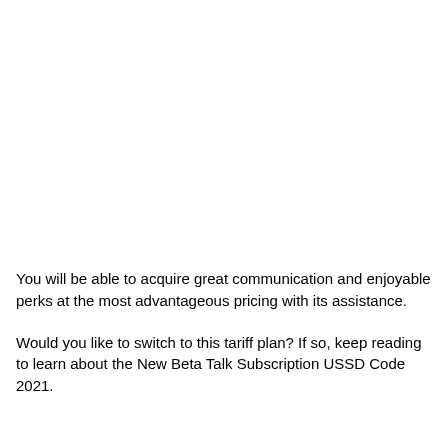You will be able to acquire great communication and enjoyable perks at the most advantageous pricing with its assistance.
Would you like to switch to this tariff plan? If so, keep reading to learn about the New Beta Talk Subscription USSD Code 2021.